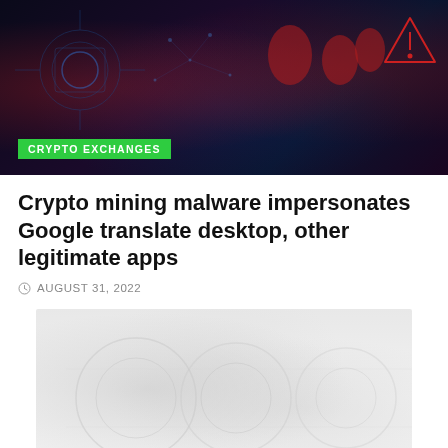[Figure (photo): Dark stylized image with crypto/cybersecurity theme — dark background with blue circuit patterns and red glowing figures, warning triangle icon visible. Green badge reads CRYPTO EXCHANGES.]
Crypto mining malware impersonates Google translate desktop, other legitimate apps
AUGUST 31, 2022
[Figure (photo): Blurred/loading light gray placeholder image, presumably showing crypto or malware related content.]